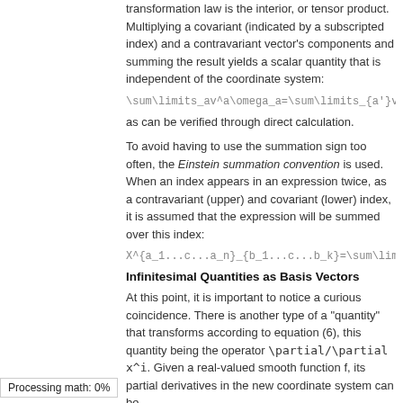transformation law is the interior, or tensor product. Multiplying a covariant (indicated by a subscripted index) and a contravariant vector's components and summing the result yields a scalar quantity that is independent of the coordinate system:
as can be verified through direct calculation.
To avoid having to use the summation sign too often, the Einstein summation convention is used. When an index appears in an expression twice, as a contravariant (upper) and covariant (lower) index, it is assumed that the expression will be summed over this index:
Infinitesimal Quantities as Basis Vectors
At this point, it is important to notice a curious coincidence. There is another type of a "quantity" that transforms according to equation (6), this quantity being the operator \partial/\partial x^i. Given a real-valued smooth function f, its partial derivatives in the new coordinate system can be
Processing math: 0%